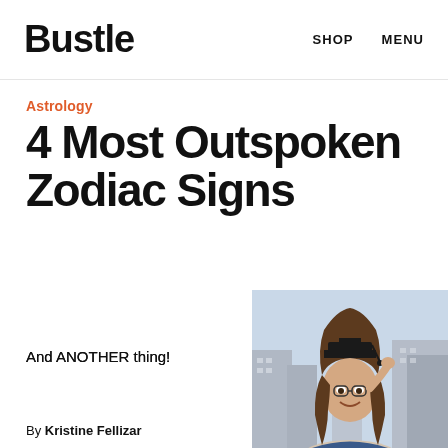Bustle   SHOP   MENU
Astrology
4 Most Outspoken Zodiac Signs
And ANOTHER thing!
[Figure (photo): Young woman wearing a graduation cap and glasses, smiling outdoors in a city setting]
By Kristine Fellizar